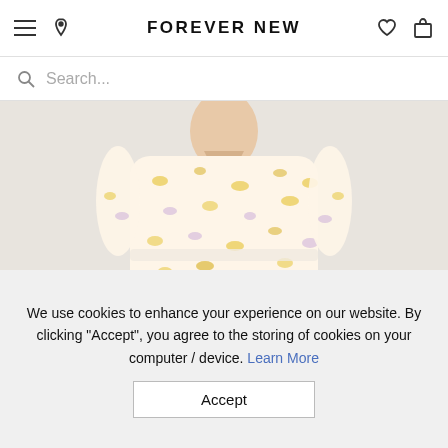FOREVER NEW
Search...
[Figure (photo): A woman wearing a floral yellow and white long-sleeve V-neck dress with ruffled skirt detail, shown from neck to waist on a light grey background.]
We use cookies to enhance your experience on our website. By clicking "Accept", you agree to the storing of cookies on your computer / device. Learn More
Accept